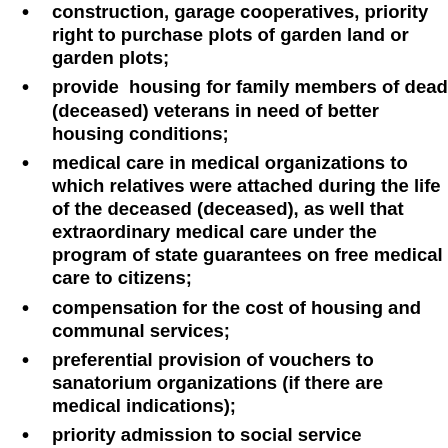construction, garage cooperatives, priority right to purchase plots of garden land or garden plots;
provide housing for family members of dead (deceased) veterans in need of better housing conditions;
medical care in medical organizations to which relatives were attached during the life of the deceased (deceased), as well that extraordinary medical care under the program of state guarantees on free medical care to citizens;
compensation for the cost of housing and communal services;
preferential provision of vouchers to sanatorium organizations (if there are medical indications);
priority admission to social service organizations providing social services in fixed form, semi-stationary form, extraordinary service to a spouse (spouse) by social service organizations providing social services in the form of services...